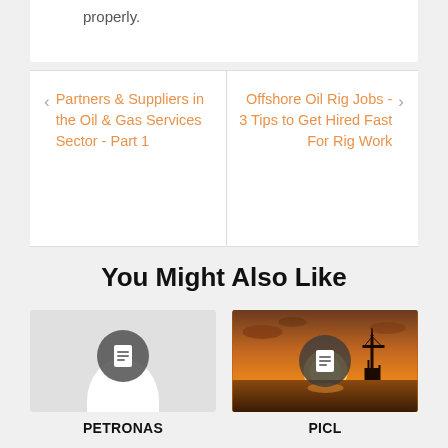properly.
Partners & Suppliers in the Oil & Gas Services Sector - Part 1
Offshore Oil Rig Jobs - 3 Tips to Get Hired Fast For Rig Work
You Might Also Like
[Figure (illustration): Card thumbnail with document icon on light grey background with blob/arch shape at bottom]
PETRONAS
[Figure (photo): Oil rig silhouette at sunset over ocean with orange sky, document icon overlay]
PICL